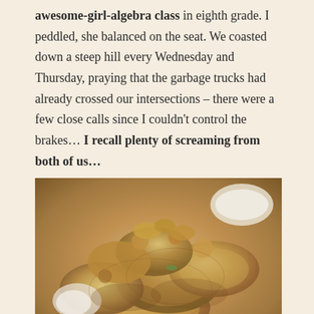awesome-girl-algebra class in eighth grade. I peddled, she balanced on the seat. We coasted down a steep hill every Wednesday and Thursday, praying that the garbage trucks had already crossed our intersections – there were a few close calls since I couldn't control the brakes… I recall plenty of screaming from both of us…
[Figure (photo): Close-up photo of fried food items, appears to be fried chicken or fried vegetables, golden brown battered pieces piled together]
After Kim left, I decided to order dinner before I headed back to the booth. Pickles